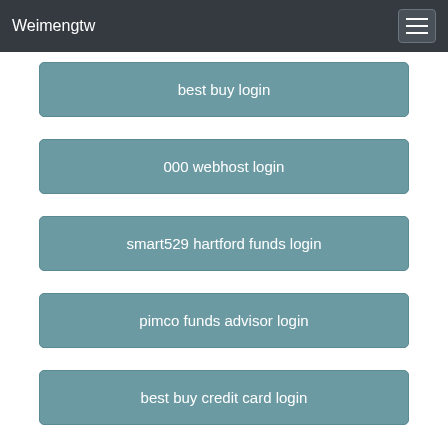Weimengtw
best buy login
000 webhost login
smart529 hartford funds login
pimco funds advisor login
best buy credit card login